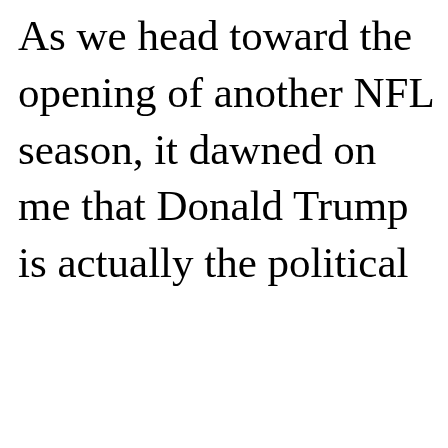As we head toward the opening of another NFL season, it dawned on me that Donald Trump is actually the political